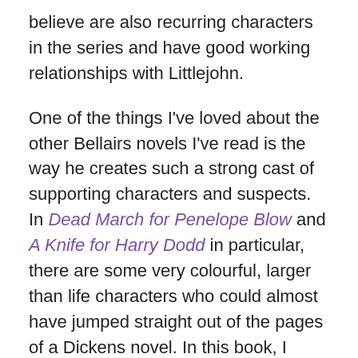believe are also recurring characters in the series and have good working relationships with Littlejohn.
One of the things I've loved about the other Bellairs novels I've read is the way he creates such a strong cast of supporting characters and suspects. In Dead March for Penelope Blow and A Knife for Harry Dodd in particular, there are some very colourful, larger than life characters who could almost have jumped straight out of the pages of a Dickens novel. In this book, I found the characterisation more bland and less interesting, but maybe that was a reflection of the shallow, vapid celebrity world Bellairs has chosen as the setting for this particular novel. Littlejohn is described several times as feeling slightly out of his depth amongst this assortment of glamorous film stars, ruthless publicity agents and millionaire